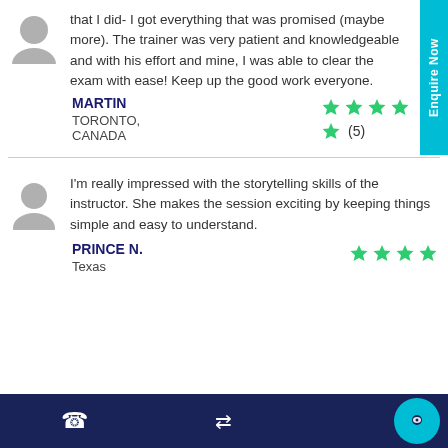that I did- I got everything that was promised (maybe more). The trainer was very patient and knowledgeable and with his effort and mine, I was able to clear the exam with ease! Keep up the good work everyone.
MARTIN
TORONTO, CANADA
★★★★★ (5)
I'm really impressed with the storytelling skills of the instructor. She makes the session exciting by keeping things simple and easy to understand.
Prince N.
Texas
★★★★